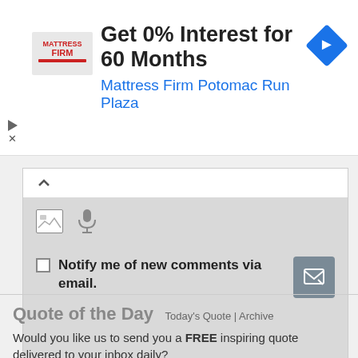[Figure (screenshot): Mattress Firm advertisement banner: red logo on left, bold headline 'Get 0% Interest for 60 Months', blue subtext 'Mattress Firm Potomac Run Plaza', blue diamond navigation icon on right]
[Figure (screenshot): Comment form UI with collapse arrow, image and microphone icons, checkbox labeled 'Notify me of new comments via email.' and a submit button]
Quote of the Day
Today's Quote | Archive
Would you like us to send you a FREE inspiring quote delivered to your inbox daily?